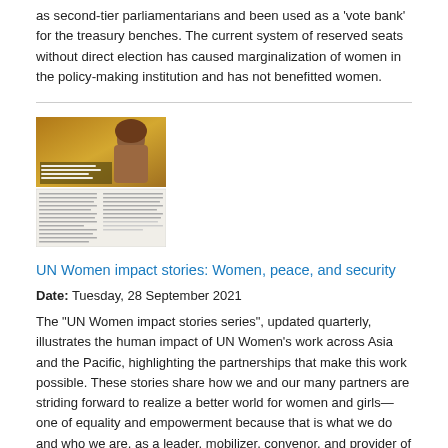as second-tier parliamentarians and been used as a 'vote bank' for the treasury benches. The current system of reserved seats without direct election has caused marginalization of women in the policy-making institution and has not benefitted women.
[Figure (photo): Thumbnail image of a UN Women impact stories publication cover showing a woman in a headscarf with golden/olive tones, and below it a two-column text document page.]
UN Women impact stories: Women, peace, and security
Date: Tuesday, 28 September 2021
The "UN Women impact stories series", updated quarterly, illustrates the human impact of UN Women's work across Asia and the Pacific, highlighting the partnerships that make this work possible. These stories share how we and our many partners are striding forward to realize a better world for women and girls—one of equality and empowerment because that is what we do and who we are, as a leader, mobilizer, convenor, and provider of programmes.